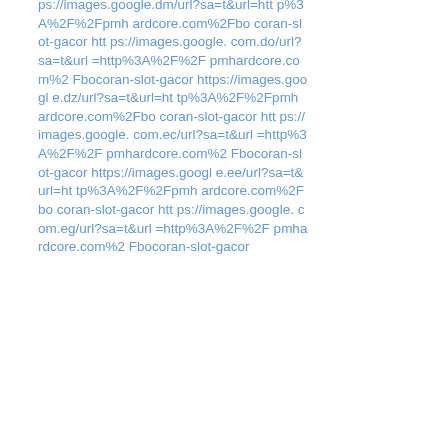ps://images.google.dm/url?sa=t&url=http%3A%2F%2Fpmhardcore.com%2Fbocoran-slot-gacor https://images.google.com.do/url?sa=t&url=http%3A%2F%2Fpmhardcore.com%2Fbocoran-slot-gacor https://images.google.dz/url?sa=t&url=http%3A%2F%2Fpmhardcore.com%2Fbocoran-slot-gacor https://images.google.com.ec/url?sa=t&url=http%3A%2F%2Fpmhardcore.com%2Fbocoran-slot-gacor https://images.google.ee/url?sa=t&url=http%3A%2F%2Fpmhardcore.com%2Fbocoran-slot-gacor https://images.google.com.eg/url?sa=t&url=http%3A%2F%2Fpmhardcore.com%2Fbocoran-slot-gacor